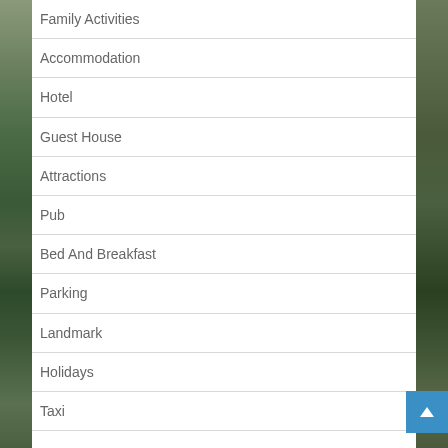Family Activities
Accommodation
Hotel
Guest House
Attractions
Pub
Bed And Breakfast
Parking
Landmark
Holidays
Taxi